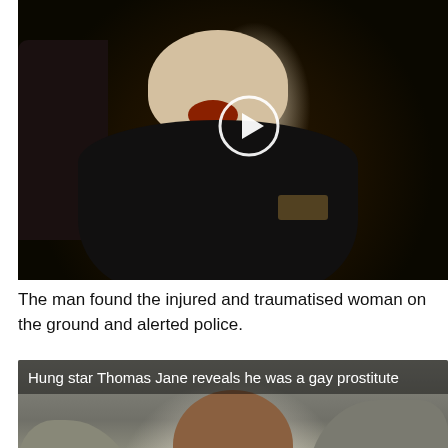[Figure (screenshot): Video thumbnail showing a young man in a black shirt sitting in a chair with mouth open, against a light wall background. A circular play button is centered on the image.]
The man found the injured and traumatised woman on the ground and alerted police.
[Figure (screenshot): Video thumbnail showing a smiling young woman in a white shirt outdoors among rocks. Overlaid with title text 'Hung star Thomas Jane reveals he was a gay prostitute' and a play button. Bottom shows hashtag #JusticeForMikayla in red and yellow italic text.]